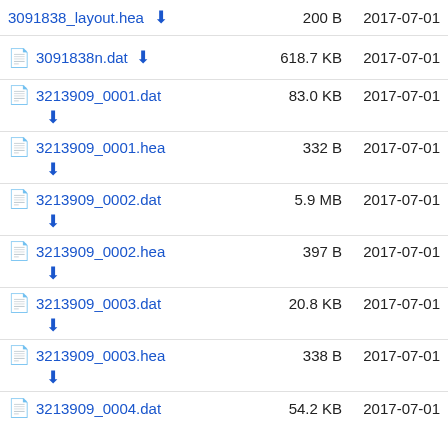3091838_layout.hea  200 B  2017-07-01
3091838n.dat  618.7 KB  2017-07-01
3213909_0001.dat  83.0 KB  2017-07-01
3213909_0001.hea  332 B  2017-07-01
3213909_0002.dat  5.9 MB  2017-07-01
3213909_0002.hea  397 B  2017-07-01
3213909_0003.dat  20.8 KB  2017-07-01
3213909_0003.hea  338 B  2017-07-01
3213909_0004.dat  54.2 KB  2017-07-01